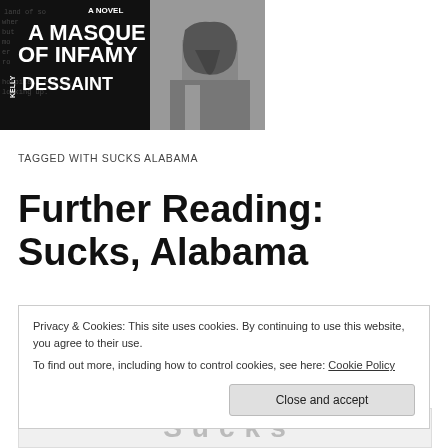[Figure (illustration): Book cover for 'A Masque of Infamy' by Kelly Dessaint alongside a black-and-white photo of a young person with hair covering face]
TAGGED WITH SUCKS ALABAMA
Further Reading: Sucks, Alabama
Privacy & Cookies: This site uses cookies. By continuing to use this website, you agree to their use.
To find out more, including how to control cookies, see here: Cookie Policy
[Close and accept]
[Figure (other): Partial bottom strip showing large styled text, partially visible]